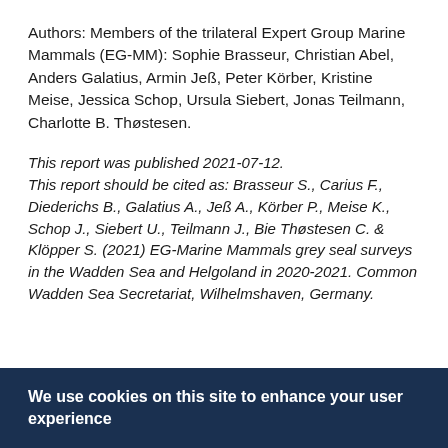Authors: Members of the trilateral Expert Group Marine Mammals (EG-MM): Sophie Brasseur, Christian Abel, Anders Galatius, Armin Jeß, Peter Körber, Kristine Meise, Jessica Schop, Ursula Siebert, Jonas Teilmann, Charlotte B. Thøstesen.
This report was published 2021-07-12. This report should be cited as: Brasseur S., Carius F., Diederichs B., Galatius A., Jeß A., Körber P., Meise K., Schop J., Siebert U., Teilmann J., Bie Thøstesen C. & Klöpper S. (2021) EG-Marine Mammals grey seal surveys in the Wadden Sea and Helgoland in 2020-2021. Common Wadden Sea Secretariat, Wilhelmshaven, Germany.
We use cookies on this site to enhance your user experience